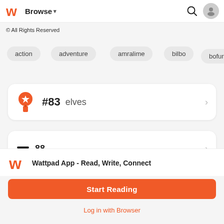[Figure (screenshot): Wattpad app navigation bar with logo, Browse dropdown, search icon, and user profile icon]
© All Rights Reserved
action
adventure
amralime
bilbo
bofur
#83  elves
Wattpad App - Read, Write, Connect
Start Reading
Log in with Browser